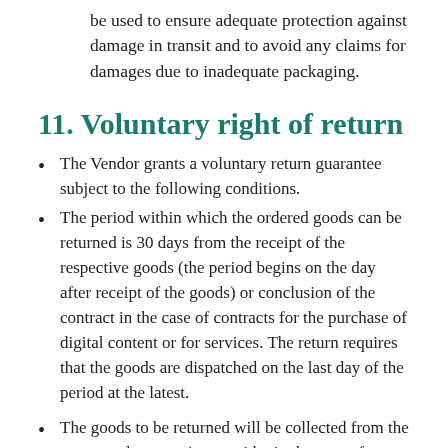be used to ensure adequate protection against damage in transit and to avoid any claims for damages due to inadequate packaging.
11. Voluntary right of return
The Vendor grants a voluntary return guarantee subject to the following conditions.
The period within which the ordered goods can be returned is 30 days from the receipt of the respective goods (the period begins on the day after receipt of the goods) or conclusion of the contract in the case of contracts for the purchase of digital content or for services. The return requires that the goods are dispatched on the last day of the period at the latest.
The goods to be returned will be collected from the customer by a service provider in the case of forwarding shipments, but they also A return label will be provided by